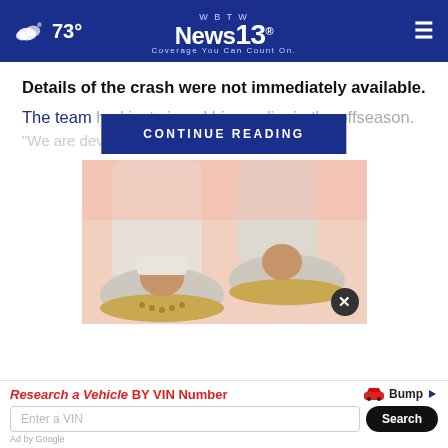73° WBTW News 13 - Coverage You Can Count On.
Details of the crash were not immediately available.
The team had just signed him earlier in the offseason.
CONTINUE READING
"We are devast...
[Figure (photo): Photo of stylish slip-on shoes with gold studded trim, worn with white pants, against a pink background. A dark circular close (X) button appears in the bottom-right corner of the image.]
Research a Vehicle BY VIN Number  Bump  Enter a VIN  Search
Ad by Google